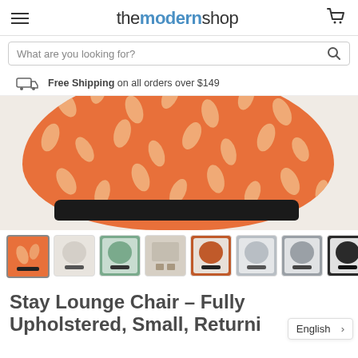themodernshop
What are you looking for?
Free Shipping on all orders over $149
[Figure (photo): Close-up of Stay Lounge Chair upholstery — orange fabric with cream leaf/floral pattern, black base visible at bottom]
[Figure (photo): Row of 8 thumbnail images of Stay Lounge Chair in various colors: orange pattern, beige, green, room scene, dark orange, light grey, grey, black]
Stay Lounge Chair - Fully Upholstered, Small, Returni
English >